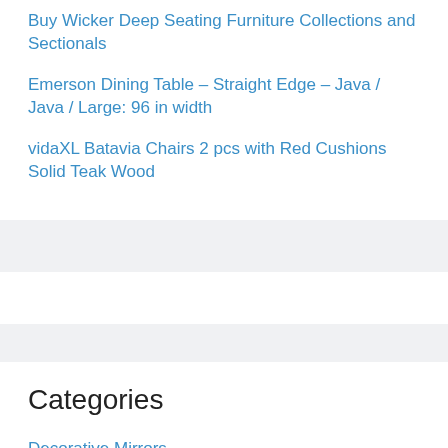Buy Wicker Deep Seating Furniture Collections and Sectionals
Emerson Dining Table – Straight Edge – Java / Java / Large: 96 in width
vidaXL Batavia Chairs 2 pcs with Red Cushions Solid Teak Wood
Categories
Decorative Mirrors
Dining Table